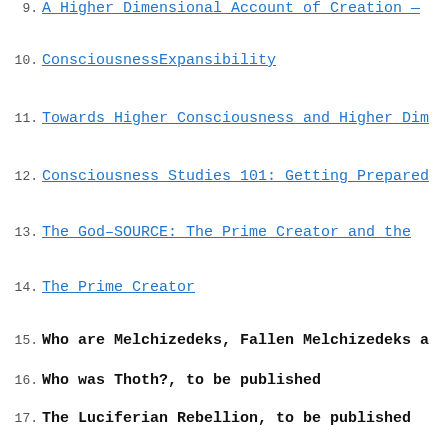9. A Higher Dimensional Account of Creation — (link)
10. ConsciousnessExpansibility (link)
11. Towards Higher Consciousness and Higher Dim… (link)
12. Consciousness Studies 101: Getting Prepared… (link)
13. The God-SOURCE: The Prime Creator and the… (link)
14. The Prime Creator (link)
15. Who are Melchizedeks, Fallen Melchizedeks a…
16. Who was Thoth?, to be published
17. The Luciferian Rebellion, to be published
18. Who are Negative Aliens? (link)
19. Who are the Negative Aliens and what do th… (link)